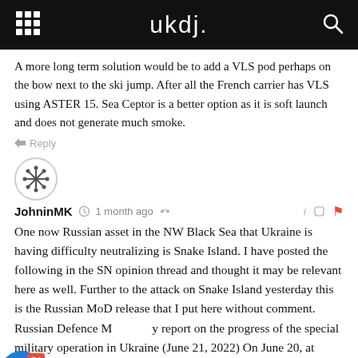ukdj.
A more long term solution would be to add a VLS pod perhaps on the bow next to the ski jump. After all the French carrier has VLS using ASTER 15. Sea Ceptor is a better option as it is soft launch and does not generate much smoke.
Reply
JohninMK · 1 month ago
One now Russian asset in the NW Black Sea that Ukraine is having difficulty neutralizing is Snake Island. I have posted the following in the SN opinion thread and thought it may be relevant here as well. Further to the attack on Snake Island yesterday this is the Russian MoD release that I put here without comment. Russian Defence Ministry report on the progress of the special military operation in Ukraine (June 21, 2022) On June 20, at about 05.00 AM, the Kiev